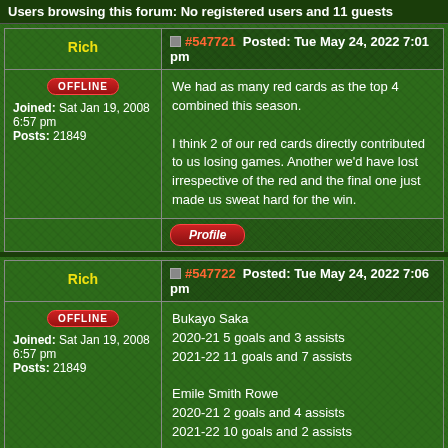Users browsing this forum: No registered users and 11 guests
| User | Post #547721 Posted: Tue May 24, 2022 7:01 pm |
| --- | --- |
| Rich | #547721  Posted: Tue May 24, 2022 7:01 pm |
| OFFLINE
Joined: Sat Jan 19, 2008 6:57 pm
Posts: 21849 | We had as many red cards as the top 4 combined this season.

I think 2 of our red cards directly contributed to us losing games. Another we'd have lost irrespective of the red and the final one just made us sweat hard for the win. |
| User | Post #547722 Posted: Tue May 24, 2022 7:06 pm |
| --- | --- |
| Rich | #547722  Posted: Tue May 24, 2022 7:06 pm |
| OFFLINE
Joined: Sat Jan 19, 2008 6:57 pm
Posts: 21849 | Bukayo Saka
2020-21 5 goals and 3 assists
2021-22 11 goals and 7 assists

Emile Smith Rowe
2020-21 2 goals and 4 assists
2021-22 10 goals and 2 assists |